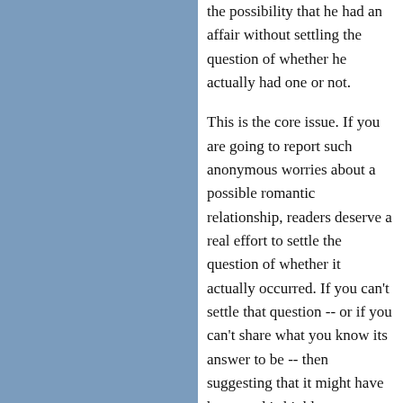[Figure (other): Blue-grey colored left panel / sidebar occupying the left ~49% of the page]
the possibility that he had an affair without settling the question of whether he actually had one or not.
This is the core issue. If you are going to report such anonymous worries about a possible romantic relationship, readers deserve a real effort to settle the question of whether it actually occurred. If you can't settle that question -- or if you can't share what you know its answer to be -- then suggesting that it might have happened is highly questionable.
Or, if you still don't get it, watch this video with Matt Welch, who wrote a book about